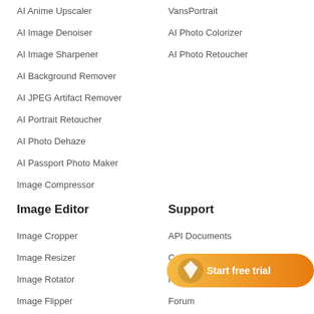AI Anime Upscaler
VansPortrait
AI Image Denoiser
AI Photo Colorizer
AI Image Sharpener
AI Photo Retoucher
AI Background Remover
AI JPEG Artifact Remover
AI Portrait Retoucher
AI Photo Dehaze
AI Passport Photo Maker
Image Compressor
Image Editor
Support
Image Cropper
API Documents
Image Resizer
Conf…
Image Rotator
Help &…
Image Flipper
Forum
[Figure (illustration): Orange rounded button with diamond/gem icon and text 'Start free trial']